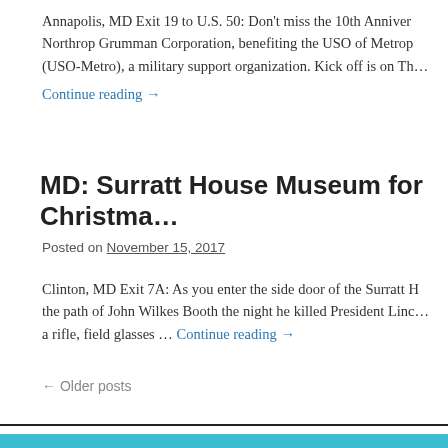Annapolis, MD Exit 19 to U.S. 50: Don't miss the 10th Anniver… Northrop Grumman Corporation, benefiting the USO of Metrop… (USO-Metro), a military support organization. Kick off is on Th…
Continue reading →
MD: Surratt House Museum for Christma…
Posted on November 15, 2017
Clinton, MD Exit 7A: As you enter the side door of the Surratt H… the path of John Wilkes Booth the night he killed President Linc… a rifle, field glasses … Continue reading →
← Older posts
DROG – Our Driving Blog